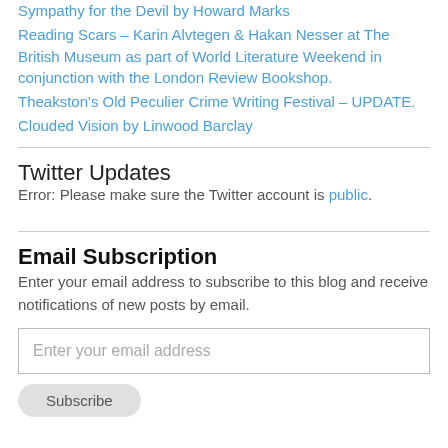Sympathy for the Devil by Howard Marks
Reading Scars – Karin Alvtegen & Hakan Nesser at The British Museum as part of World Literature Weekend in conjunction with the London Review Bookshop.
Theakston's Old Peculier Crime Writing Festival – UPDATE.
Clouded Vision by Linwood Barclay
Twitter Updates
Error: Please make sure the Twitter account is public.
Email Subscription
Enter your email address to subscribe to this blog and receive notifications of new posts by email.
Enter your email address